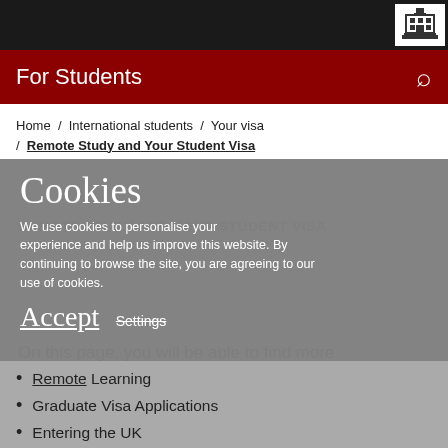For Students
Home / International students / Your visa / Remote Study and Your Student Visa
Cookies
We use cookies to personalise your experience and help us improve this website. By continuing to browse the site, you are agreeing to our use of cookies.
REMOTE STUDY AND YOUR STUDENT VISA
On this page, you will be able to find more information about:
Accept
Settings
Remote Learning
Graduate Visa Applications
Entering the UK